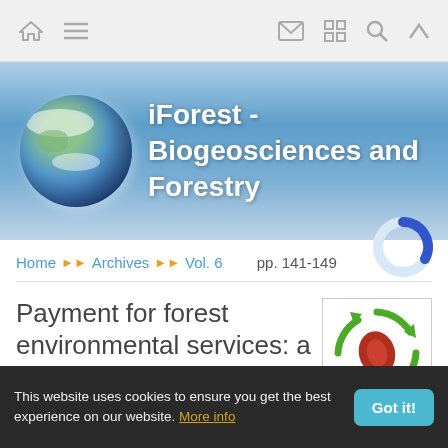Navigation bar with home, menu, mail, grid, search, up icons
[Figure (illustration): iForest - Biogeosciences and Forestry banner with globe image and gradient blue background]
iForest - Biogeosciences and Forestry
Home >> Archives >> Vol. 6 >> pp. 141-149
Payment for forest environmental services: a
[Figure (illustration): Circular diagram with green arrows and red/brown leaf shape in center]
This website uses cookies to ensure you get the best experience on our website. More info